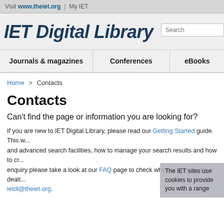Visit www.theiet.org | My IET
IET Digital Library
Journals & magazines  Conferences  eBooks
Home > Contacts
Contacts
Can't find the page or information you are looking for?
If you are new to IET Digital Library, please read our Getting Started guide. This w... and advanced search facilities, how to manage your search results and how to cr... enquiry please take a look at our FAQ page to check whether your query is dealt ... ietdl@theiet.org.
The IET sites use cookies to provide you with a range